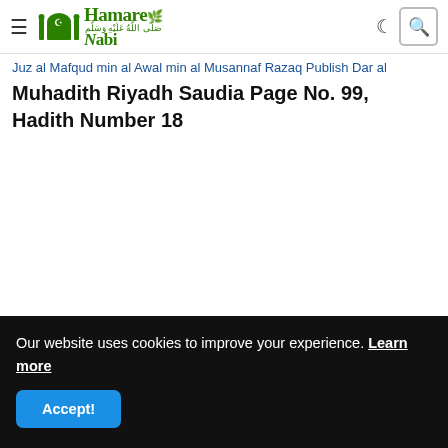Hamare Nabi — navigation bar with hamburger menu, logo, moon icon, and search icon
Juz al Mafqud min al Awal min al Musannaf Razaq Publish Dar al Muhadith Riyadh Saudia Page No. 99, Hadith Number 18
Our website uses cookies to improve your experience. Learn more
Accept!